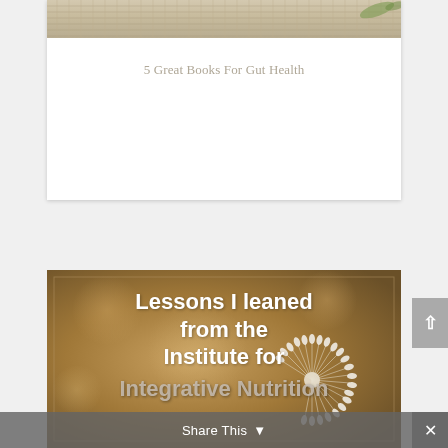[Figure (photo): Top portion of a card showing a woven basket texture at the top, with white space below. Title text reads '5 Great Books For Gut Health' in light grey serif font.]
5 Great Books For Gut Health
[Figure (photo): A warm brown/tan bokeh background with a dandelion seed head on the right side. White bold text overlay reads 'Lessons I leaned from the Institute for Integrative Nutrition'. A share bar at the bottom shows 'Share This' with a dropdown arrow. An X close button appears at bottom right.]
Lessons I leaned from the Institute for Integrative Nutrition
Share This